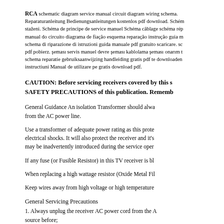RCA schematic diagram service manual circuit diagram wiring schema. Reparaturanleitung Bedienungsanleitungen kostenlos pdf download. Schéma staženi. Schéma de principe de service manuel Schéma câblage schéma réparation manual do circuito diagrama de fiação esquema reparação instrução guia manual schema di riparazione di istruzioni guida manuale pdf gratuito scaricare. schemat pdf pobierz. şeması servis manuel devre şeması kablolama şeması onarım talimatları schema reparatie gebruiksaanwijzing handleiding gratis pdf te downloaden. instructiuni Manual de utilizare pe gratis download pdf.
CAUTION: Before servicing receivers covered by this s SAFETY PRECAUTIONS of this publication. Rememb
General Guidance An isolation Transformer should always be used from the AC power line.
Use a transformer of adequate power rating as this protects electrical shocks. It will also protect the receiver and it's may be inadvertently introduced during the service operation.
If any fuse (or Fusible Resistor) in this TV receiver is bl
When replacing a high wattage resistor (Oxide Metal Fil
Keep wires away from high voltage or high temperature
General Servicing Precautions
1. Always unplug the receiver AC power cord from the A source before;
a. Removing or reinstalling any component, circuit board module or any other receiver assembly